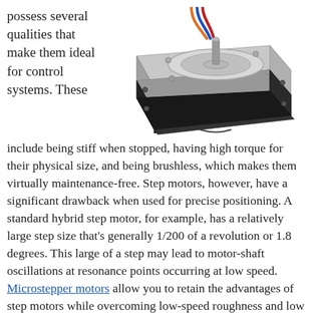possess several qualities that make them ideal for control systems. These
[Figure (photo): A stepper motor shown in perspective view with colored wires (orange, blue, red) coming out the top, silver/aluminum body with mounting screws at corners, and a central shaft. Black coil section visible on the lower portion.]
include being stiff when stopped, having high torque for their physical size, and being brushless, which makes them virtually maintenance-free. Step motors, however, have a significant drawback when used for precise positioning. A standard hybrid step motor, for example, has a relatively large step size that's generally 1/200 of a revolution or 1.8 degrees. This large of a step may lead to motor-shaft oscillations at resonance points occurring at low speed. Microstepper motors allow you to retain the advantages of step motors while overcoming low-speed roughness and low resolution—a technique